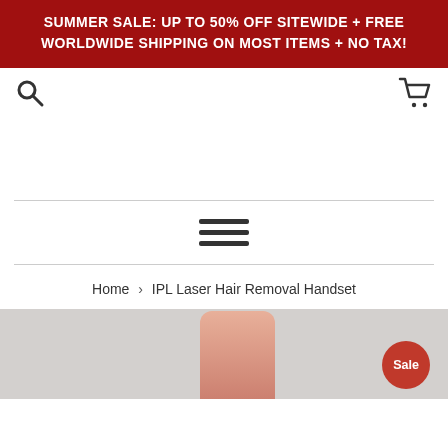SUMMER SALE: UP TO 50% OFF SITEWIDE + FREE WORLDWIDE SHIPPING ON MOST ITEMS + NO TAX!
[Figure (screenshot): E-commerce website header with search icon on the left and shopping cart icon on the right]
Home › IPL Laser Hair Removal Handset
[Figure (photo): Product photo of IPL Laser Hair Removal Handset with Sale badge in bottom right corner]